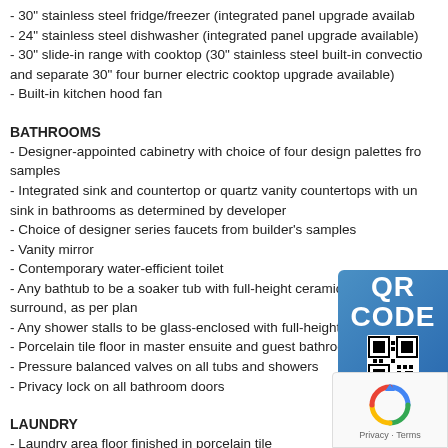- 30" stainless steel fridge/freezer (integrated panel upgrade available)
- 24" stainless steel dishwasher (integrated panel upgrade available)
- 30" slide-in range with cooktop (30" stainless steel built-in convection and separate 30" four burner electric cooktop upgrade available)
- Built-in kitchen hood fan
BATHROOMS
- Designer-appointed cabinetry with choice of four design palettes from samples
- Integrated sink and countertop or quartz vanity countertops with undermount sink in bathrooms as determined by developer
- Choice of designer series faucets from builder's samples
- Vanity mirror
- Contemporary water-efficient toilet
- Any bathtub to be a soaker tub with full-height ceramic or porcelain surround, as per plan
- Any shower stalls to be glass-enclosed with full-height ceramic or porcelain
- Porcelain tile floor in master ensuite and guest bathrooms, as per plan
- Pressure balanced valves on all tubs and showers
- Privacy lock on all bathroom doors
LAUNDRY
- Laundry area floor finished in porcelain tile
[Figure (other): QR Code badge in blue rounded box with 'QR CODE' text and QR code image]
[Figure (other): reCAPTCHA privacy badge with spinning arrows logo and Privacy · Terms text]